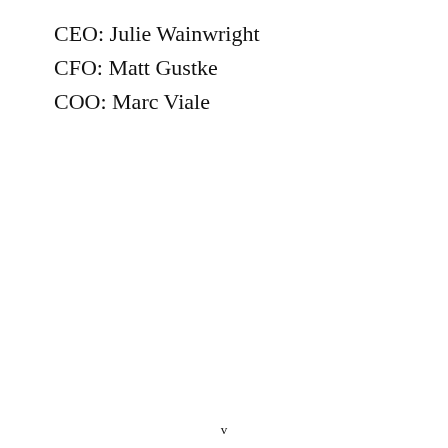CEO: Julie Wainwright
CFO: Matt Gustke
COO: Marc Viale
v